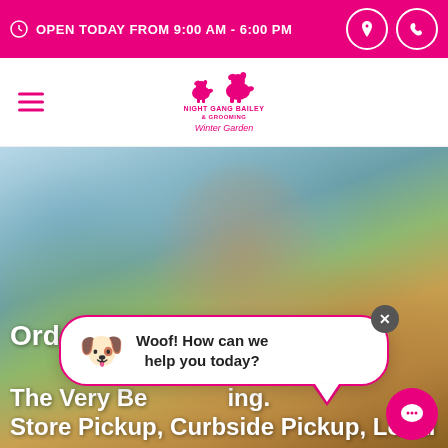OPEN TODAY FROM 9:00 AM - 6:00 PM
[Figure (logo): Night Gang Bailey & Grooming Winter Garden logo with two dog silhouettes]
[Figure (photo): Outdoor blurred background photo with trees and foliage]
Order Bo... in Y... The Very Be...ing. Store Pickup, Curbside Pickup, Local
Woof! How can we help you today?